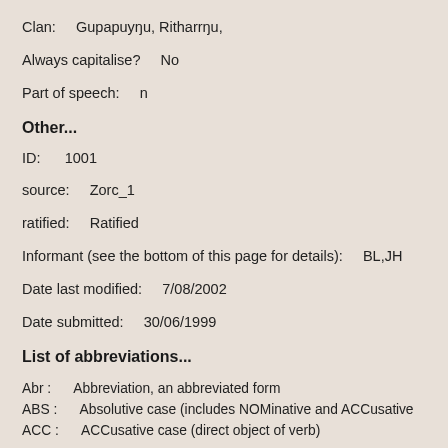Clan:    Gupapuyŋu, Ritharrŋu,
Always capitalise?     No
Part of speech:     n
Other...
ID:     1001
source:     Zorc_1
ratified:     Ratified
Informant (see the bottom of this page for details):     BL,JH
Date last modified:     7/08/2002
Date submitted:     30/06/1999
List of abbreviations...
Abr :     Abbreviation, an abbreviated form
ABS :     Absolutive case (includes NOMinative and ACCusative)
ACC :     ACCusative case (direct object of verb)